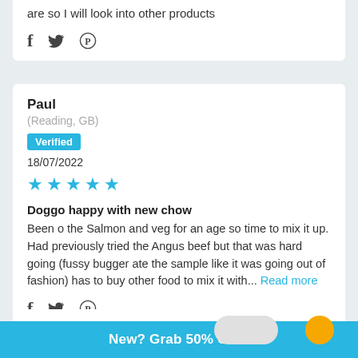are so I will look into other products
[Figure (other): Social share icons: Facebook, Twitter, Pinterest]
Paul
(Reading, GB)
Verified
18/07/2022
[Figure (other): 5 blue star rating]
Doggo happy with new chow
Been o the Salmon and veg for an age so time to mix it up. Had previously tried the Angus beef but that was hard going (fussy bugger ate the sample like it was going out of fashion) has to buy other food to mix it with... Read more
[Figure (other): Social share icons: Facebook, Twitter, Pinterest]
New? Grab 50% Off...